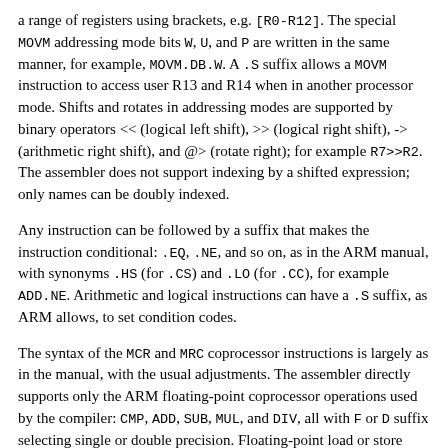a range of registers using brackets, e.g. [R0-R12]. The special MOVM addressing mode bits W, U, and P are written in the same manner, for example, MOVM.DB.W. A .S suffix allows a MOVM instruction to access user R13 and R14 when in another processor mode. Shifts and rotates in addressing modes are supported by binary operators << (logical left shift), >> (logical right shift), -> (arithmetic right shift), and @> (rotate right); for example R7>>R2. The assembler does not support indexing by a shifted expression; only names can be doubly indexed.
Any instruction can be followed by a suffix that makes the instruction conditional: .EQ, .NE, and so on, as in the ARM manual, with synonyms .HS (for .CS) and .LO (for .CC), for example ADD.NE. Arithmetic and logical instructions can have a .S suffix, as ARM allows, to set condition codes.
The syntax of the MCR and MRC coprocessor instructions is largely as in the manual, with the usual adjustments. The assembler directly supports only the ARM floating-point coprocessor operations used by the compiler: CMP, ADD, SUB, MUL, and DIV, all with F or D suffix selecting single or double precision. Floating-point load or store become MOVF and MOVD. Conversion instructions are also specified by moves: MOVWD, MOVWF, MOVDW, MOVWD, MOVFD, and MOVDF.